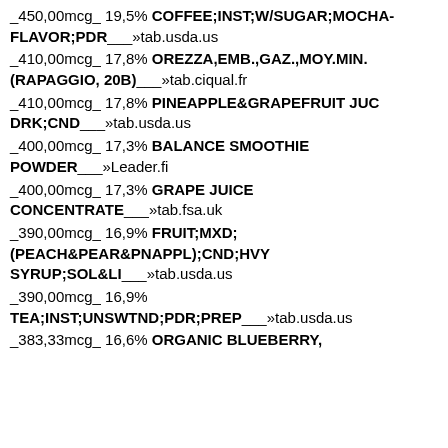_450,00mcg_ 19,5% COFFEE;INST;W/SUGAR;MOCHA-FLAVOR;PDR___»tab.usda.us
_410,00mcg_ 17,8% OREZZA,EMB.,GAZ.,MOY.MIN.(RAPAGGIO, 20B)___»tab.ciqual.fr
_410,00mcg_ 17,8% PINEAPPLE&GRAPEFRUIT JUC DRK;CND___»tab.usda.us
_400,00mcg_ 17,3% BALANCE SMOOTHIE POWDER___»Leader.fi
_400,00mcg_ 17,3% GRAPE JUICE CONCENTRATE___»tab.fsa.uk
_390,00mcg_ 16,9% FRUIT;MXD;(PEACH&PEAR&PNAPPL);CND;HVY SYRUP;SOL&LI___»tab.usda.us
_390,00mcg_ 16,9% TEA;INST;UNSWTND;PDR;PREP___»tab.usda.us
_383,33mcg_ 16,6% ORGANIC BLUEBERRY,